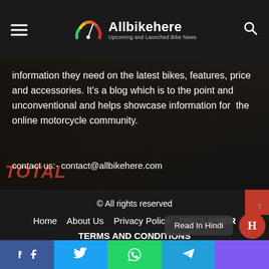Allbikehere — Upcoming and Launched Bike News
information they need on the latest bikes, features, price and accessories. It's a blog which is to the point and unconventional and helps showcase information for  the online motorcycle community.
contact us:- contact@allbikehere.com
© All rights reserved
Home   About Us   Privacy Policy   DISCLAIMER
TERMS AND CONDITIONS